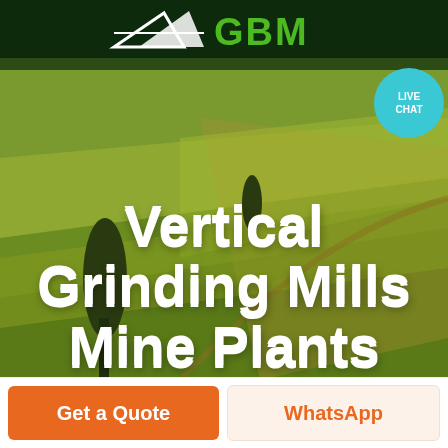GBM
[Figure (screenshot): GBM company logo with stylized arrow/wing graphic in white on dark green header bar, with bright green navigation bar below and a hamburger menu icon on the right. A teal live chat bubble is overlaid at the top right. Below is an aerial landscape scenic photo with rolling green/golden fields used as a hero image background.]
Vertical Grinding Mills Mine Plants
Get a Quote
WhatsApp